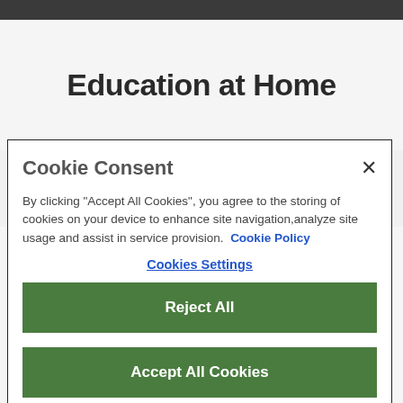Education at Home
[Figure (illustration): Partial rainbow graphic in red, orange, and yellow colors visible behind cookie consent modal]
Cookie Consent
×
By clicking "Accept All Cookies", you agree to the storing of cookies on your device to enhance site navigation,analyze site usage and assist in service provision. Cookie Policy
Cookies Settings
Reject All
Accept All Cookies